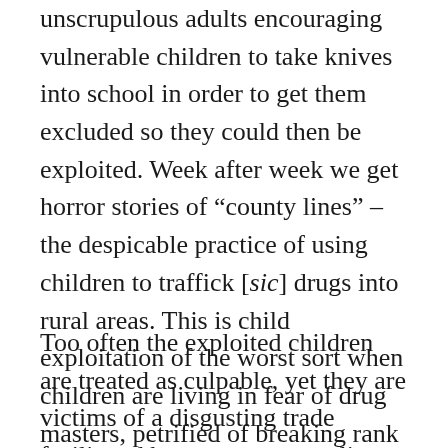unscrupulous adults encouraging vulnerable children to take knives into school in order to get them excluded so they could then be exploited. Week after week we get horror stories of “county lines” – the despicable practice of using children to traffick [sic] drugs into rural areas. This is child exploitation of the worst sort when children are living in fear of drug masters, petrified of breaking rank for fear of violence or something even worse.
Too often the exploited children are treated as culpable, yet they are victims of a disgusting trade facilitated by government policy. When will we start to recognise the